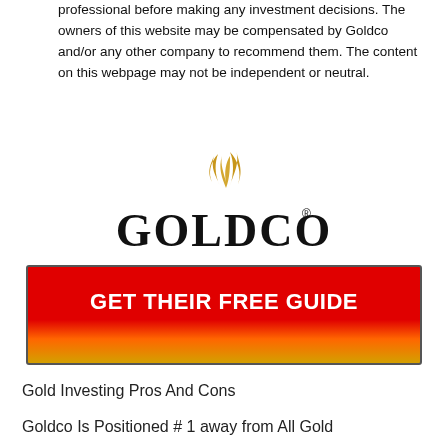professional before making any investment decisions. The owners of this website may be compensated by Goldco and/or any other company to recommend them. The content on this webpage may not be independent or neutral.
[Figure (logo): Goldco logo with golden flame symbol above the word GOLDCO in bold serif font with registered trademark symbol]
[Figure (infographic): Red to gold gradient button with text GET THEIR FREE GUIDE in white bold uppercase letters]
Gold Investing Pros And Cons
Goldco Is Positioned # 1 away from All Gold